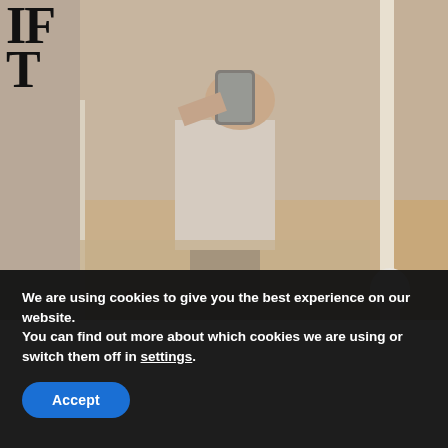[Figure (photo): Mirror selfie of a person wearing a white graphic sweatshirt and dark pants, taken in a bedroom setting with a carpet floor and checkered bedding visible in the background.]
IF
HOME
ABOUT
FOOD
LIFESTYLE
OUR RANCH
STYLE
TRAVEL
SHOP
HOLIDAYS
We are using cookies to give you the best experience on our website.
You can find out more about which cookies we are using or switch them off in settings.
Accept